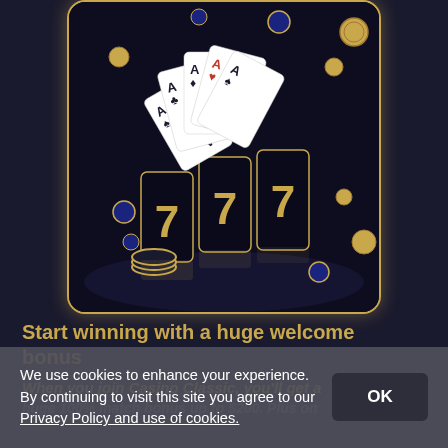[Figure (illustration): Casino themed illustration inside a dark navy rounded rectangle with gold border. Features playing cards (aces), golden 777 slot machine reels, poker chips in black and gold, and gold coins scattered around on a dark reflective surface.]
Start winning with a huge welcome bonus
When you join Casino Classic, you'll get a huge 100% match bonus up to $200. Plus on
We use cookies to enhance your experience. By continuing to visit this site you agree to our Privacy Policy and use of cookies.